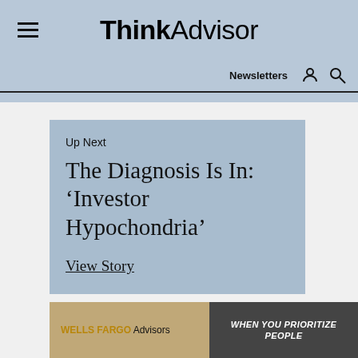ThinkAdvisor — Newsletters
Up Next
The Diagnosis Is In: 'Investor Hypochondria'
View Story
[Figure (photo): Wells Fargo Advisors advertisement banner with blurred bokeh background on left and an outdoor kayaking scene on the right with text 'WHEN YOU PRIORITIZE PEOPLE']